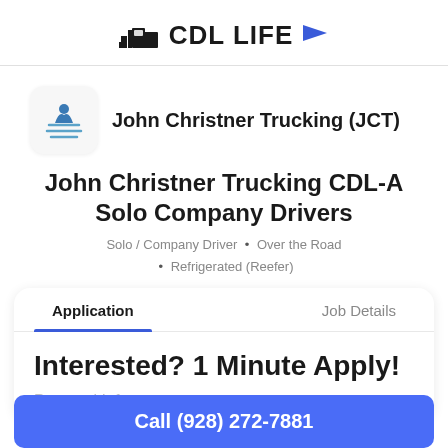[Figure (logo): CDL Life logo with truck icon and blue flag]
[Figure (logo): John Christner Trucking company logo inside rounded square]
John Christner Trucking (JCT)
John Christner Trucking CDL-A Solo Company Drivers
Solo / Company Driver  •  Over the Road  •  Refrigerated (Reefer)
Application   Job Details
Interested? 1 Minute Apply!
Personal Info
Call (928) 272-7881